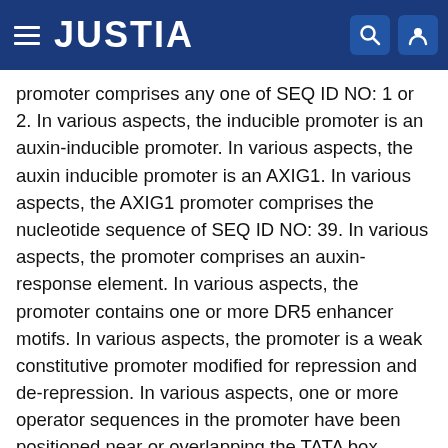JUSTIA
promoter comprises any one of SEQ ID NO: 1 or 2. In various aspects, the inducible promoter is an auxin-inducible promoter. In various aspects, the auxin inducible promoter is an AXIG1. In various aspects, the AXIG1 promoter comprises the nucleotide sequence of SEQ ID NO: 39. In various aspects, the promoter comprises an auxin-response element. In various aspects, the promoter contains one or more DR5 enhancer motifs. In various aspects, the promoter is a weak constitutive promoter modified for repression and de-repression. In various aspects, one or more operator sequences in the promoter have been positioned near or overlapping the TATA box and/or the transcription start site. In various aspects, the promoter is NOS, AXIG1, ZM-GOS2, CC-UB11-PRO or ZM-ADF4-PRO. In various aspects, the promoter is a DR5 promoter comprising the nucleotide sequence of SEQ ID NO: 40. In